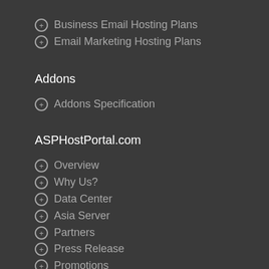Business Email Hosting Plans
Email Marketing Hosting Plans
Addons
Addons Specification
ASPHostPortal.com
Overview
Why Us?
Data Center
Asia Server
Partners
Press Release
Promotions
Terms & Conditions
Service Level Agreement
Privacy Policy
GDPR Compliant Hosting Service
Contact Us